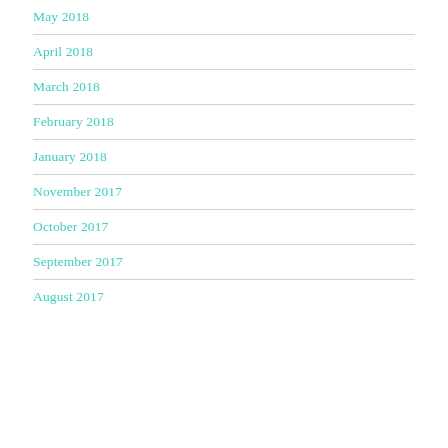May 2018
April 2018
March 2018
February 2018
January 2018
November 2017
October 2017
September 2017
August 2017